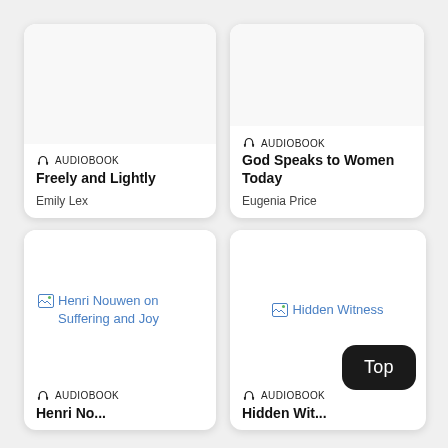[Figure (screenshot): Audiobook card for 'Freely and Lightly' by Emily Lex with headphone icon and AUDIOBOOK label]
[Figure (screenshot): Audiobook card for 'God Speaks to Women Today' by Eugenia Price with headphone icon and AUDIOBOOK label]
[Figure (screenshot): Audiobook card for 'Henri Nouwen on Suffering and Joy' with broken image placeholder and AUDIOBOOK label (partial)]
[Figure (screenshot): Audiobook card for 'Hidden Witness' with broken image placeholder, AUDIOBOOK label, and 'Top' navigation button]